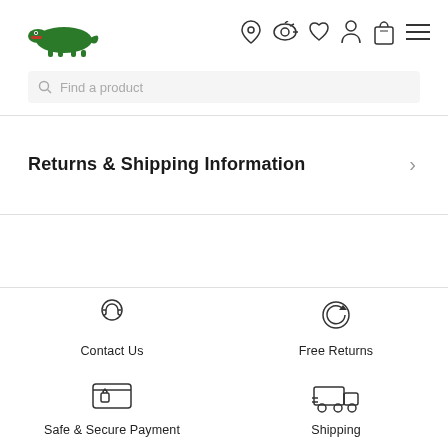Lacoste navigation header with logo, icons, and search bar
Returns & Shipping Information
Contact Us
Free Returns
Safe & Secure Payment
Shipping